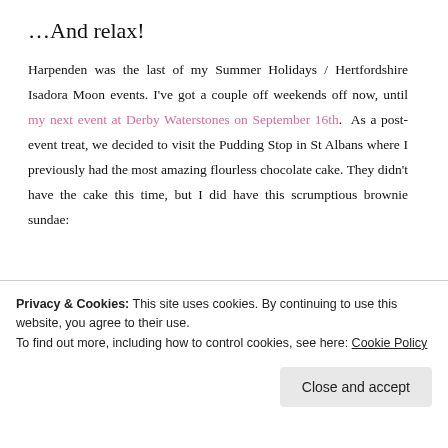…And relax!
Harpenden was the last of my Summer Holidays / Hertfordshire Isadora Moon events. I've got a couple off weekends off now, until my next event at Derby Waterstones on September 16th. As a post-event treat, we decided to visit the Pudding Stop in St Albans where I previously had the most amazing flourless chocolate cake. They didn't have the cake this time, but I did have this scrumptious brownie sundae:
Privacy & Cookies: This site uses cookies. By continuing to use this website, you agree to their use.
To find out more, including how to control cookies, see here: Cookie Policy
Close and accept